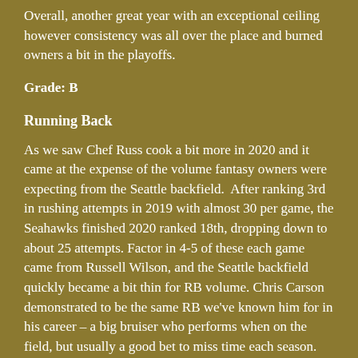Overall, another great year with an exceptional ceiling however consistency was all over the place and burned owners a bit in the playoffs.
Grade: B
Running Back
As we saw Chef Russ cook a bit more in 2020 and it came at the expense of the volume fantasy owners were expecting from the Seattle backfield.  After ranking 3rd in rushing attempts in 2019 with almost 30 per game, the Seahawks finished 2020 ranked 18th, dropping down to about 25 attempts. Factor in 4-5 of these each game came from Russell Wilson, and the Seattle backfield quickly became a bit thin for RB volume. Chris Carson demonstrated to be the same RB we've known him for in his career – a big bruiser who performs when on the field, but usually a good bet to miss time each season. He appeared in